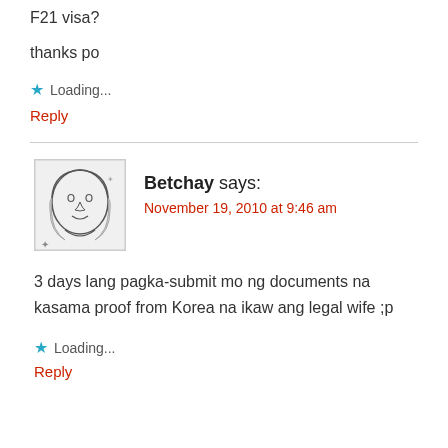F21 visa?
thanks po
★ Loading...
Reply
Betchay says:
November 19, 2010 at 9:46 am
3 days lang pagka-submit mo ng documents na kasama proof from Korea na ikaw ang legal wife ;p
★ Loading...
Reply